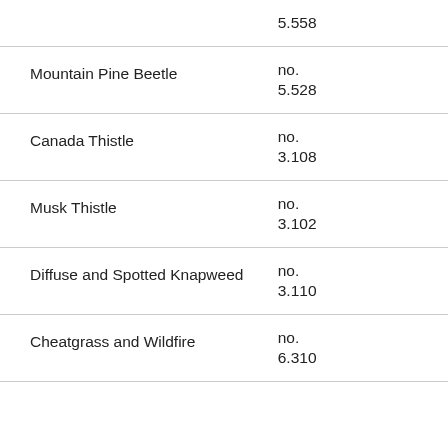| Item | Value |
| --- | --- |
|  | 5.558 |
| Mountain Pine Beetle | no.
5.528 |
| Canada Thistle | no.
3.108 |
| Musk Thistle | no.
3.102 |
| Diffuse and Spotted Knapweed | no.
3.110 |
| Cheatgrass and Wildfire | no.
6.310 |